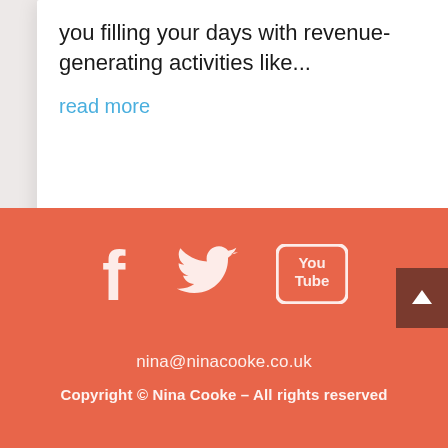you filling your days with revenue-generating activities like...
read more
[Figure (illustration): Social media icons: Facebook, Twitter, YouTube on coral background]
nina@ninacooke.co.uk
Copyright © Nina Cooke – All rights reserved